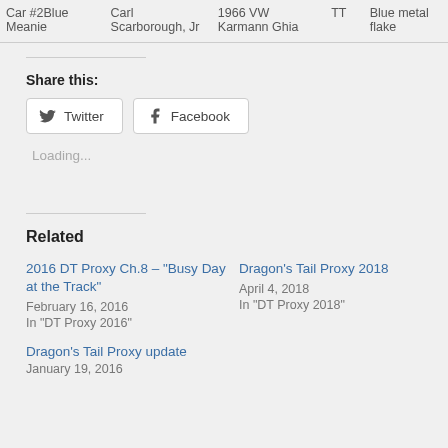| Car #2Blue Meanie | Carl Scarborough, Jr | 1966 VW Karmann Ghia | TT | Blue metal flake |
Share this:
Twitter | Facebook
Loading...
Related
2016 DT Proxy Ch.8 – "Busy Day at the Track"
February 16, 2016
In "DT Proxy 2016"
Dragon's Tail Proxy 2018
April 4, 2018
In "DT Proxy 2018"
Dragon's Tail Proxy update
January 19, 2016